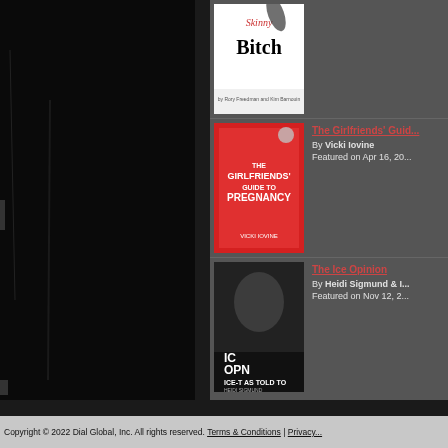[Figure (photo): Black textured panel on the left side of the page]
[Figure (photo): Book cover: Skinny Bitch by Rory Freedman and Kim Barnouin]
The Girlfriends' Guid...
By Vicki Iovine
Featured on Apr 16, 20...
[Figure (photo): Book cover: The Girlfriends' Guide to Pregnancy by Vicki Iovine]
The Ice Opinion
By Heidi Sigmund & I...
Featured on Nov 12, 2...
[Figure (photo): Book cover: The Ice Opinion by Ice-T as told to Heidi Sigmund]
Copyright © 2022 Dial Global, Inc. All rights reserved. Terms & Conditions | Privacy...